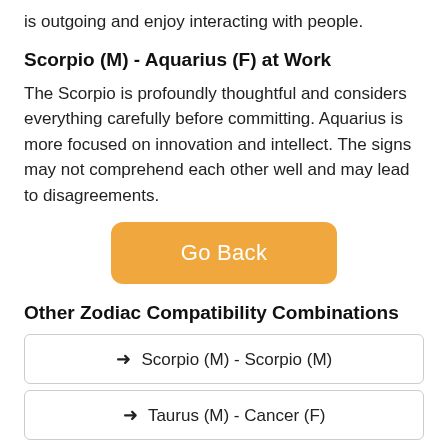is outgoing and enjoy interacting with people.
Scorpio (M) - Aquarius (F) at Work
The Scorpio is profoundly thoughtful and considers everything carefully before committing. Aquarius is more focused on innovation and intellect. The signs may not comprehend each other well and may lead to disagreements.
[Figure (other): Orange rounded button labeled 'Go Back']
Other Zodiac Compatibility Combinations
→ Scorpio (M) - Scorpio (M)
→ Taurus (M) - Cancer (F)